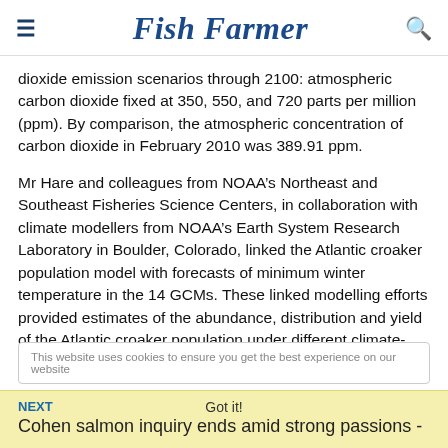Fish Farmer
dioxide emission scenarios through 2100: atmospheric carbon dioxide fixed at 350, 550, and 720 parts per million (ppm). By comparison, the atmospheric concentration of carbon dioxide in February 2010 was 389.91 ppm.
Mr Hare and colleagues from NOAA’s Northeast and Southeast Fisheries Science Centers, in collaboration with climate modellers from NOAA’s Earth System Research Laboratory in Boulder, Colorado, linked the Atlantic croaker population model with forecasts of minimum winter temperature in the 14 GCMs. These linked modelling efforts provided estimates of the abundance, distribution and yield of the Atlantic croaker population under different climate-change scenarios and different fishing rates.
This website uses cookies to ensure you get the best experience on our website
NEXT
Cohen salmon inquiry ends amid strong passions -